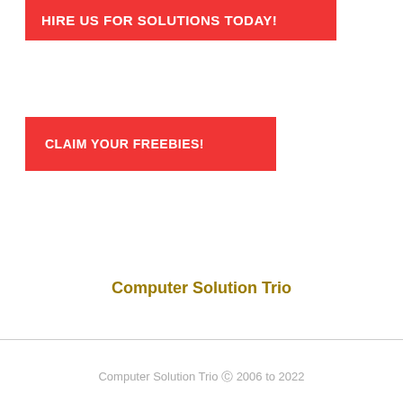HIRE US FOR SOLUTIONS TODAY!
CLAIM YOUR FREEBIES!
Computer Solution Trio
Computer Solution Trio © 2006 to 2022